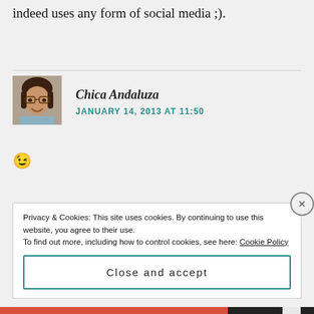indeed uses any form of social media ;).
[Figure (photo): Avatar photo of commenter Chica Andaluza, a woman with short dark hair and glasses, smiling]
Chica Andaluza
JANUARY 14, 2013 AT 11:50
😉
Privacy & Cookies: This site uses cookies. By continuing to use this website, you agree to their use.
To find out more, including how to control cookies, see here: Cookie Policy
Close and accept